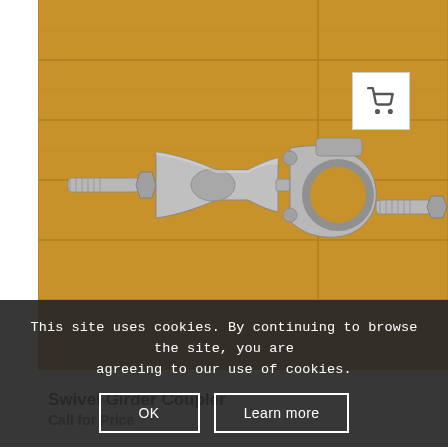[Figure (photo): A galvanized steel swivel girder coupler/clamp with bolts, photographed on a wooden floor background. The clamp has two jaws connected by a swivel joint, with hex bolts protruding from each side.]
This site uses cookies. By continuing to browse the site, you are agreeing to our use of cookies.
OK
Learn more
Swivel Girder Coupler
Call for Price